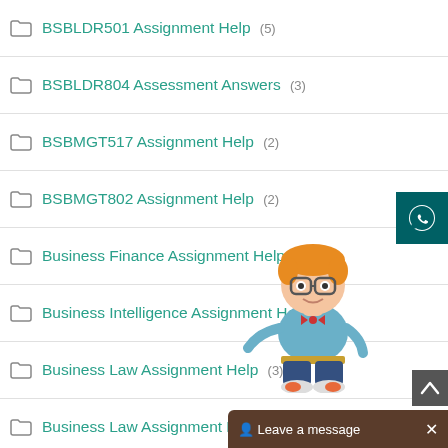BSBLDR501 Assignment Help (5)
BSBLDR804 Assessment Answers (3)
BSBMGT517 Assignment Help (2)
BSBMGT802 Assignment Help (2)
Business Finance Assignment Help (3)
Business Intelligence Assignment Help (1)
Business Law Assignment Help (3)
Business Law Assignment Help (2)
Business Management Assignment Help (21)
Business Research Assignment Help (1)
Careerline courses (5)
[Figure (illustration): Cartoon mascot character: a nerdy boy with glasses, orange hair, bow tie, holding pointer, wearing jeans and sneakers]
[Figure (other): WhatsApp contact button (dark teal background with WhatsApp logo)]
Leave a message